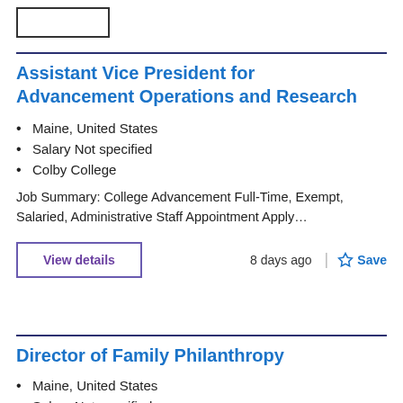Assistant Vice President for Advancement Operations and Research
Maine, United States
Salary Not specified
Colby College
Job Summary: College Advancement Full-Time, Exempt, Salaried, Administrative Staff Appointment Apply…
View details
8 days ago
Save
Director of Family Philanthropy
Maine, United States
Salary Not specified